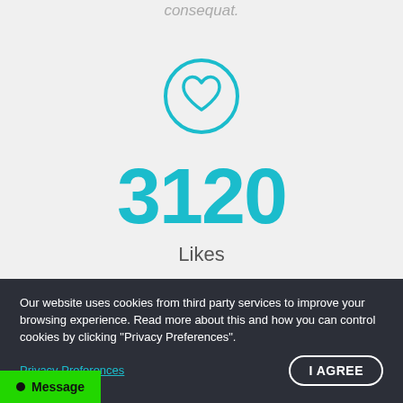consequat.
[Figure (illustration): A teal circle outline containing a heart outline icon, centered on the page]
3120
Likes
Our website uses cookies from third party services to improve your browsing experience. Read more about this and how you can control cookies by clicking "Privacy Preferences".
Privacy Preferences
I AGREE
Message